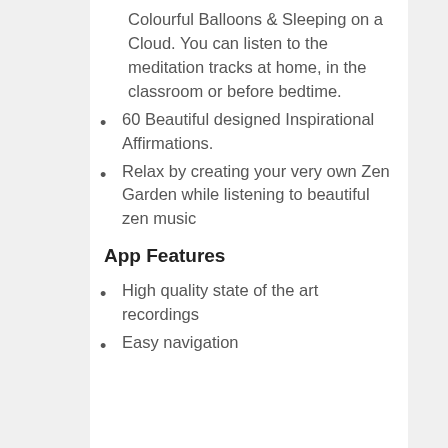Colourful Balloons & Sleeping on a Cloud. You can listen to the meditation tracks at home, in the classroom or before bedtime.
60 Beautiful designed Inspirational Affirmations.
Relax by creating your very own Zen Garden while listening to beautiful zen music
App Features
High quality state of the art recordings
Easy navigation